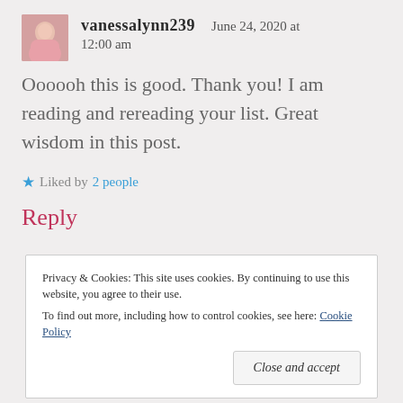[Figure (photo): Small avatar photo of a woman in a pink top]
vanessalynn239   June 24, 2020 at 12:00 am
Oooooh this is good. Thank you! I am reading and rereading your list. Great wisdom in this post.
★ Liked by 2 people
Reply
Privacy & Cookies: This site uses cookies. By continuing to use this website, you agree to their use. To find out more, including how to control cookies, see here: Cookie Policy
Close and accept